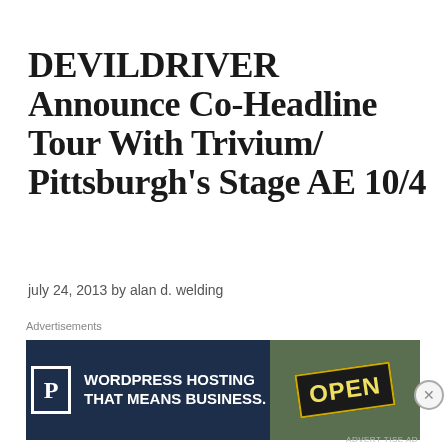DEVILDRIVER Announce Co-Headline Tour With Trivium/ Pittsburgh's Stage AE 10/4
july 24, 2013 by alan d. welding
New Album Winter Kills Available August 27th in North America  In support of their new release Winter Kills California Groove Metallers, DEVILDRIVERwill be
Advertisements
[Figure (other): Advertisement banner for WordPress Hosting with a 'P' parking icon logo and an OPEN sign image on the right. Text reads: WORDPRESS HOSTING THAT MEANS BUSINESS.]